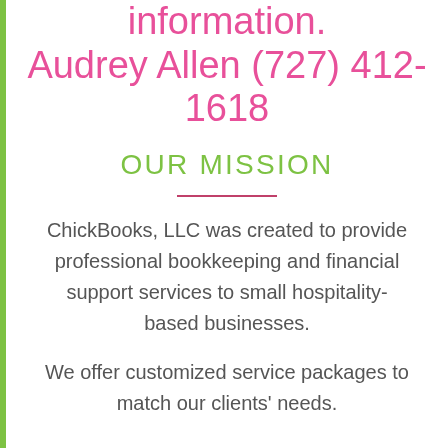information. Audrey Allen (727) 412-1618
OUR MISSION
ChickBooks, LLC was created to provide professional bookkeeping and financial support services to small hospitality-based businesses.

We offer customized service packages to match our clients' needs.